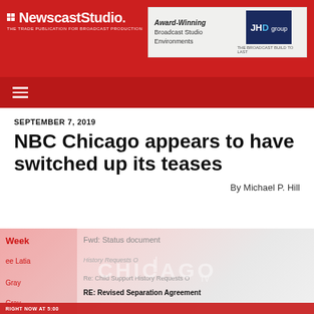NewscastStudio — THE TRADE PUBLICATION FOR BROADCAST PRODUCTION
SEPTEMBER 7, 2019
NBC Chicago appears to have switched up its teases
By Michael P. Hill
[Figure (screenshot): Screenshot of NBC Chicago TV news tease showing an email inbox interface overlaid with the CHICAGO TV logo watermark, with email subjects including 'Fwd: Status document', 'Re: Child Support History Requests', 'RE: Revised Separation Agreement', and a red lower-third bar reading 'RIGHT NOW AT 5:00']